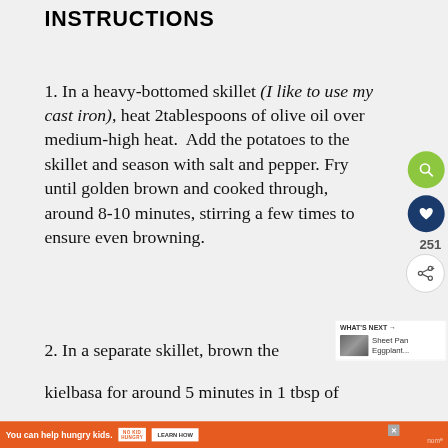INSTRUCTIONS
1. In a heavy-bottomed skillet (I like to use my cast iron), heat 2tablespoons of olive oil over medium-high heat. Add the potatoes to the skillet and season with salt and pepper. Fry until golden brown and cooked through, around 8-10 minutes, stirring a few times to ensure even browning.
2. In a separate skillet, brown the kielbasa for around 5 minutes in 1 tbsp of